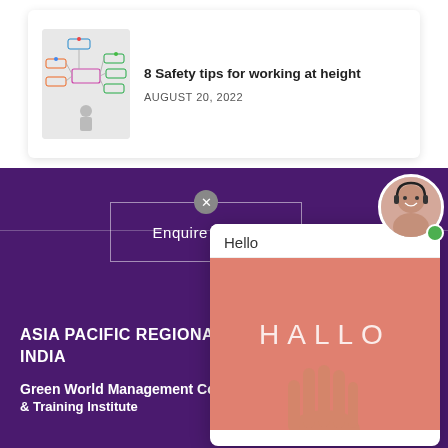[Figure (illustration): Mindmap/flowchart illustration with colorful connected boxes and a person sitting]
8 Safety tips for working at height
AUGUST 20, 2022
[Figure (screenshot): Website section with dark purple background showing Enquire Now button, a chat popup with Hello header and HALLO text on salmon/coral background with a hand, and a customer service agent photo in circle]
ASIA PACIFIC REGIONAL INDIA
Green World Management Consultants
& Training Institute